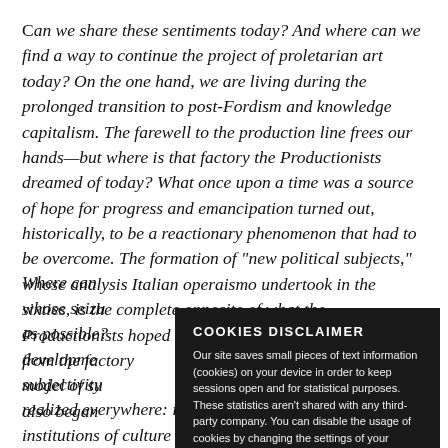Can we share these sentiments today? And where can we find a way to continue the project of proletarian art today? On the one hand, we are living during the prolonged transition to post-Fordism and knowledge capitalism. The farewell to the production line frees our hands—but where is that factory the Productionists dreamed of today? What once upon a time was a source of hope for progress and emancipation turned out, historically, to be a reactionary phenomenon that had to be overcome. The formation of "new political subjects," whose analysis Italian operaismo undertook in the sixties, is the complete opposite of what the Productionists hoped for. The natural exodus of workers from the factory [text continues] model of su[bjectivity] also began [text continues]
COOKIES DISCLAIMER
Our site saves small pieces of text information (cookies) on your device in order to keep sessions open and for statistical purposes. These statistics aren't shared with any third-party company. You can disable the usage of cookies by changing the settings of your browser. By browsing our website without changing the browser settings you grant us permission to store that information on your device.
[I AGREE button]
Where can [text continues] whose seizu[re] as possible? development subjectivity realized everywhere: in the thick of daily life, in institutions of culture